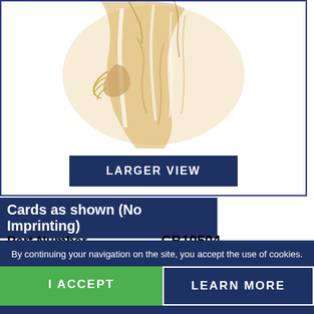[Figure (illustration): Close-up illustration of a figure in golden/tan tones on white background, showing draped fabric and hands.]
LARGER VIEW
Cards as shown (No Imprinting)
| Part Number | CB10504 |
| --- | --- |
Single card with
By continuing your navigation on the site, you accept the use of cookies.
I ACCEPT
LEARN MORE